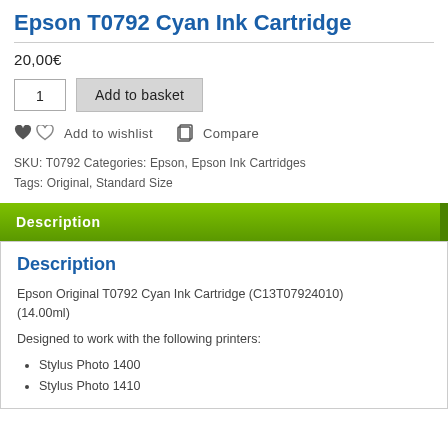Epson T0792 Cyan Ink Cartridge
20,00€
1  Add to basket
Add to wishlist  Compare
SKU: T0792 Categories: Epson, Epson Ink Cartridges Tags: Original, Standard Size
Description
Description
Epson Original T0792 Cyan Ink Cartridge (C13T07924010) (14.00ml)
Designed to work with the following printers:
Stylus Photo 1400
Stylus Photo 1410